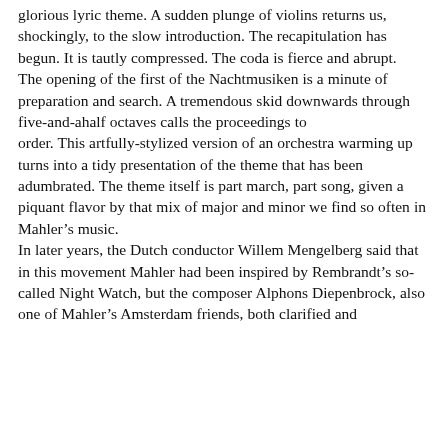glorious lyric theme. A sudden plunge of violins returns us, shockingly, to the slow introduction. The recapitulation has begun. It is tautly compressed. The coda is fierce and abrupt. The opening of the first of the Nachtmusiken is a minute of preparation and search. A tremendous skid downwards through five-and-ahalf octaves calls the proceedings to order. This artfully-stylized version of an orchestra warming up turns into a tidy presentation of the theme that has been adumbrated. The theme itself is part march, part song, given a piquant flavor by that mix of major and minor we find so often in Mahler’s music. In later years, the Dutch conductor Willem Mengelberg said that in this movement Mahler had been inspired by Rembrandt’s so‐called Night Watch, but the composer Alphons Diepenbrock, also one of Mahler’s Amsterdam friends, both clarified and